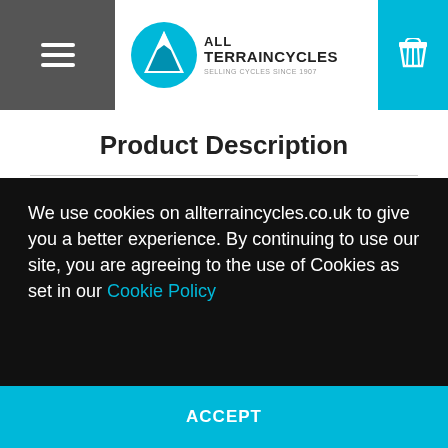[Figure (logo): All Terrain Cycles logo with blue mountain icon and text 'ALL TERRAINCYCLES SELLING CYCLES SINCE 1907']
Product Description
Fit your child's Mini with a Yepp sleep roll and turn your bike into a cozy napping spot. Made of soft rubber foam for optimal head support and comfort. The material conforms to norm 71.3 (Toys) and has ASTM approval.
We use cookies on allterraincycles.co.uk to give you a better experience. By continuing to use our site, you are agreeing to the use of Cookies as set in our Cookie Policy
ACCEPT